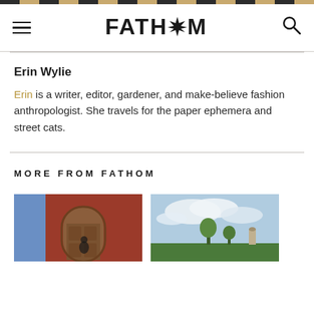FATH*M
Erin Wylie
Erin is a writer, editor, gardener, and make-believe fashion anthropologist. She travels for the paper ephemera and street cats.
MORE FROM FATHOM
[Figure (photo): Arched wooden door with red and blue painted walls]
[Figure (photo): Landscape with cloudy sky and green trees]